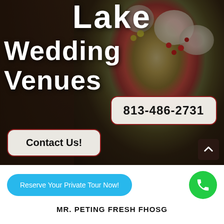[Figure (screenshot): Hero section of a wedding venue website showing a background photo of a wedding bouquet with flowers including white blooms, red berries, and green foliage, with dark overlay.]
Lake Wedding Venues
813-486-2731
Contact Us!
Reserve Your Private Tour Now!
MR. PETING FRESH FHOSG